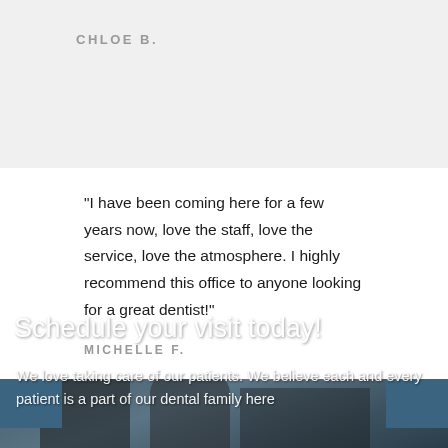CHLOE B.
"I have been coming here for a few years now, love the staff, love the service, love the atmosphere. I highly recommend this office to anyone looking for a great dentist!"
MICHELLE F.
[Figure (photo): Dental office interior with staff members seated at desks with monitors, overhead lamps visible]
Schedule your visit today!
We love taking care of our patients. We believe each and every patient is a part of our dental family here at Cannon City Center for Dentistry.